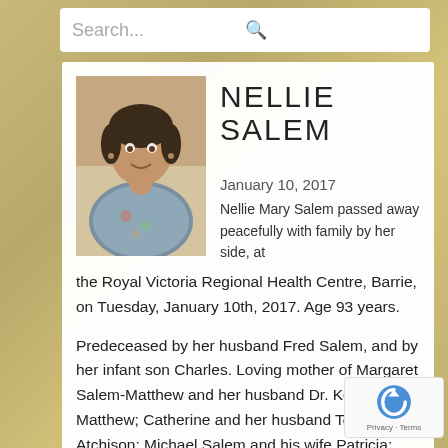Search...
NELLIE SALEM
[Figure (photo): Portrait photo of Nellie Salem, an elderly woman with dark hair, wearing a floral/colored blouse, smiling]
January 10, 2017
Nellie Mary Salem passed away peacefully with family by her side, at the Royal Victoria Regional Health Centre, Barrie, on Tuesday, January 10th, 2017. Age 93 years.
Predeceased by her husband Fred Salem, and by her infant son Charles. Loving mother of Margaret Salem-Matthew and her husband Dr. Keith Matthew; Catherine and her husband Tom Atchison; Michael Salem and his wife Patricia; Mary Salem Charette her husband Maurice Charette; Colleen and her